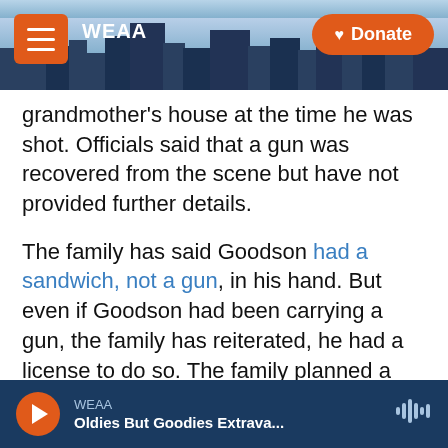[Figure (screenshot): WEAA radio website header with city skyline background, hamburger menu button, WEAA logo, and orange Donate button]
grandmother's house at the time he was shot. Officials said that a gun was recovered from the scene but have not provided further details.
The family has said Goodson had a sandwich, not a gun, in his hand. But even if Goodson had been carrying a gun, the family has reiterated, he had a license to do so. The family planned a news conference Thursday.
The Franklin County coroner said in March that Goodson had been shot five times in the back.
A judge scheduled an initial hearing Friday for
[Figure (screenshot): WEAA audio player bar at bottom showing orange play button, WEAA label, 'Oldies But Goodies Extrava...' title, and waveform icon]